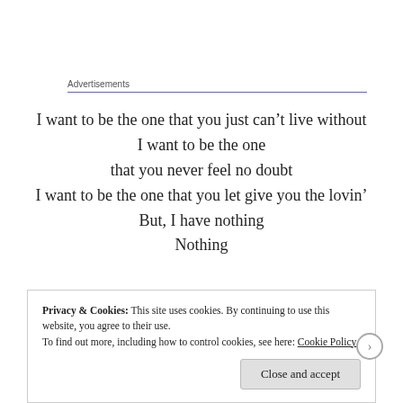Advertisements
I want to be the one that you just can’t live without
I want to be the one
that you never feel no doubt
I want to be the one that you let give you the lovin’
But, I have nothing
Nothing
Privacy & Cookies: This site uses cookies. By continuing to use this website, you agree to their use.
To find out more, including how to control cookies, see here: Cookie Policy
Close and accept